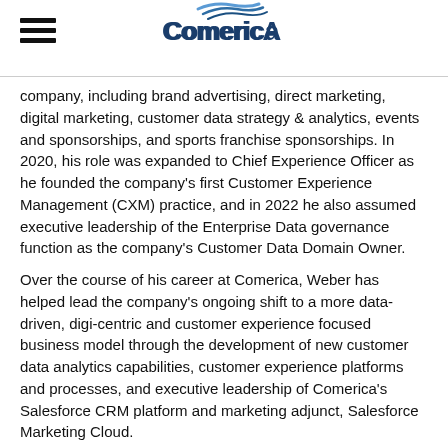Comerica
company, including brand advertising, direct marketing, digital marketing, customer data strategy & analytics, events and sponsorships, and sports franchise sponsorships. In 2020, his role was expanded to Chief Experience Officer as he founded the company's first Customer Experience Management (CXM) practice, and in 2022 he also assumed executive leadership of the Enterprise Data governance function as the company's Customer Data Domain Owner.
Over the course of his career at Comerica, Weber has helped lead the company's ongoing shift to a more data-driven, digi-centric and customer experience focused business model through the development of new customer data analytics capabilities, customer experience platforms and processes, and executive leadership of Comerica's Salesforce CRM platform and marketing adjunct, Salesforce Marketing Cloud.
Prior to joining Comerica, Weber was also a Chief Marketing Offi…